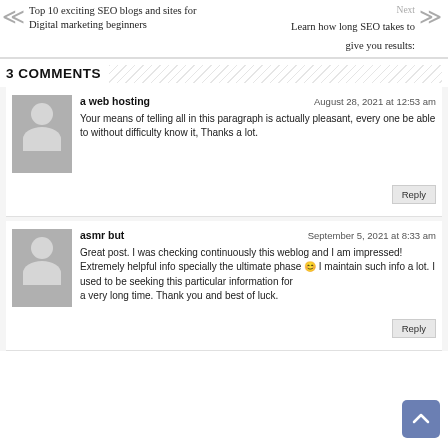Top 10 exciting SEO blogs and sites for Digital marketing beginners
Next
Learn how long SEO takes to give you results:
3 COMMENTS
a web hosting
August 28, 2021 at 12:53 am
Your means of telling all in this paragraph is actually pleasant, every one be able to without difficulty know it, Thanks a lot.
asmr but
September 5, 2021 at 8:33 am
Great post. I was checking continuously this weblog and I am impressed!
Extremely helpful info specially the ultimate phase 😊 I maintain such info a lot. I used to be seeking this particular information for
a very long time. Thank you and best of luck.